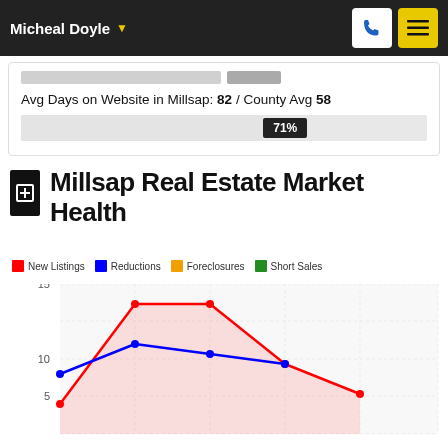Micheal Doyle
Avg Days on Website in Millsap: 82 / County Avg 58
71%
Millsap Real Estate Market Health
New Listings  Reductions  Foreclosures  Short Sales
[Figure (line-chart): Millsap Real Estate Market Health]